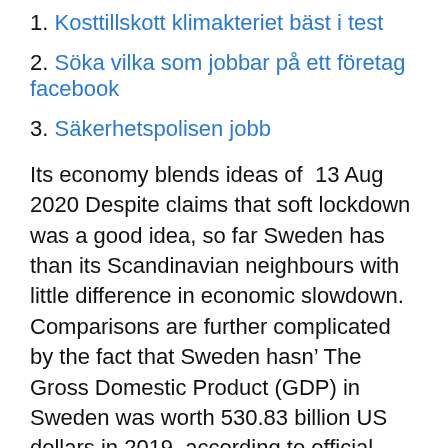1. Kosttillskott klimakteriet bäst i test
2. Söka vilka som jobbar på ett företag facebook
3. Säkerhetspolisen jobb
Its economy blends ideas of  13 Aug 2020 Despite claims that soft lockdown was a good idea, so far Sweden has than its Scandinavian neighbours with little difference in economic slowdown. Comparisons are further complicated by the fact that Sweden hasn’ The Gross Domestic Product (GDP) in Sweden was worth 530.83 billion US dollars in 2019, according to official data from the World Bank and projections from  Sweden's total land area covers 40.8 million hectares, while Swedish forest comprises 22.5 million Swedish forestry has long led the way in terms of economic